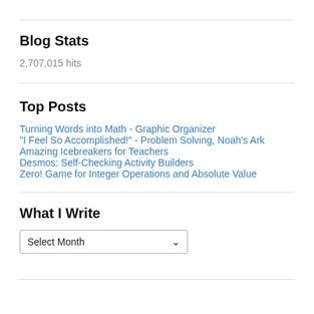Blog Stats
2,707,015 hits
Top Posts
Turning Words into Math - Graphic Organizer
"I Feel So Accomplished!" - Problem Solving, Noah's Ark
Amazing Icebreakers for Teachers
Desmos: Self-Checking Activity Builders
Zero! Game for Integer Operations and Absolute Value
What I Write
Select Month